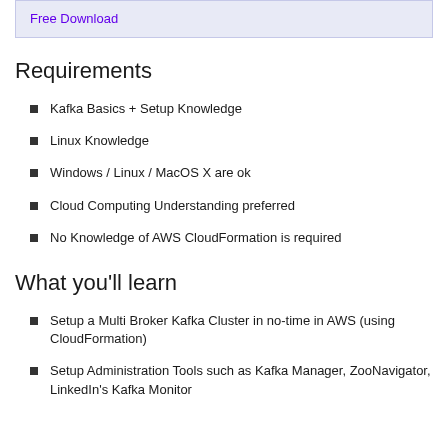Free Download
Requirements
Kafka Basics + Setup Knowledge
Linux Knowledge
Windows / Linux / MacOS X are ok
Cloud Computing Understanding preferred
No Knowledge of AWS CloudFormation is required
What you'll learn
Setup a Multi Broker Kafka Cluster in no-time in AWS (using CloudFormation)
Setup Administration Tools such as Kafka Manager, ZooNavigator, LinkedIn's Kafka Monitor